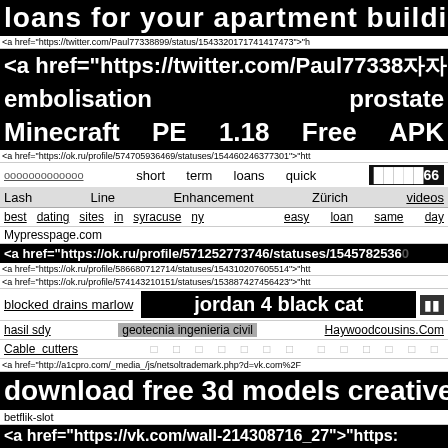loans for your apartment building.
<a href="https://twitter.com/Paul77338899/status/1543320171741417473">"h
<a href="https://twitter.com/Paul77338899...
embolisation   prostate
Minecraft   PE   1.18   Free   APK
<a href="https://ok.ru/profile/574705936469/statuses/154460246377301">"htt
ооооооооооооо  short term loans quick  □□□□□66
Lash   Line   Enhancement   Zürich   videos
best dating sites in syracuse ny  easy loan same day
Mypresspage.com
<a href="https://ok.ru/profile/571252773746/statuses/154578253600
<a href="https://ok.ru/profile/586680712714/statuses/154310207605514">"htt
<a href="https://ok.ru/profile/574143210151/statuses/153887427456423">"htt
blocked drains marlow  jordan 4 black cat  □□
hasil sdy  geotecnia ingenieria civil  Haywoodcousins.Com
Cable cutters  □ □ □ □ □ □ □  □ □ □ □ □ □
<a href="http://a1cpro.com/_media_/js/netsoltrademark.php?d=vk.com%2F
download free 3d models creative com
betflik-slot
<a href="https://vk.com/wall-214308716_27">"https:
BMW   MOVE   MAPS
<a href="https://twitter.com/Fokeyev/status/1500011231767318528">"https://
Любительское  эротика  how to convert bitcoin into dollars